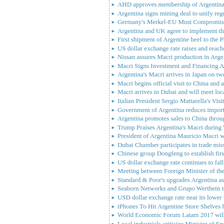AHD approves membership of Argentina...
Argentina signs mining deal to unify regu...
Germany's Merkel-EU Must Compromise...
Argentina and UK agree to implement the...
First shipment of Argentine beef to the Ph...
US dollar exchange rate raises and reache...
Nissan assures Macri production in Arge...
Macri Signs Investment and Financing Ag...
Argentina's Macri arrives in Japan on two...
Macri begins official visit to China and at...
Macri arrives in Dubai and will meet loca...
Italian President Sergio Mattarella's Visit...
Government of Argentina reduces import...
Argentina promotes sales to China throug...
Trump Praises Argentina's Macri during W...
President of Argentina Mauricio Macri wi...
Dubai Chamber participates in trade miss...
Chinese group Dongfeng to establish first...
US dollar exchange rate continues to fall...
Meeting between Foreign Minister of the...
Standard & Poor's upgrades Argentina as...
Seaborn Networks and Grupo Werthein to...
USD dollar exchange rate near its lower w...
iPhones To Hit Argentine Store Shelves h...
World Economic Forum Latam 2017 will...
Local industrials criticize Minister of Ene...
PayPal lands in Argentina in alliance with...
Argentina and Singapore hold the II Meet...
Moody's changes outlook on the Govern...